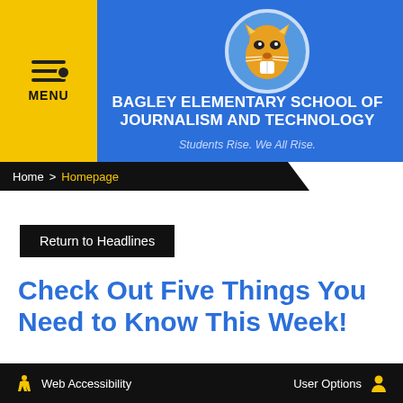[Figure (logo): Bagley Elementary School mascot — a cougar/panther face inside a blue circle]
BAGLEY ELEMENTARY SCHOOL OF JOURNALISM AND TECHNOLOGY
Students Rise. We All Rise.
Home > Homepage
Return to Headlines
Check Out Five Things You Need to Know This Week!
Web Accessibility   User Options